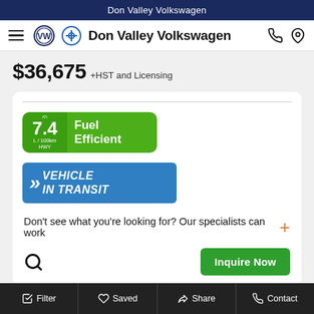Don Valley Volkswagen
Don Valley Volkswagen
$36,675 +HST and Licensing
[Figure (infographic): Green badge showing 7.4 L/100km HWY Fuel Efficient, and blue badge showing VEHICLE IN TRANSIT with double arrows]
Don't see what you're looking for? Our specialists can work
Inquire Now
[Figure (photo): Coming Soon image placeholder with dark dotted background]
Filter  Saved  Share  Contact